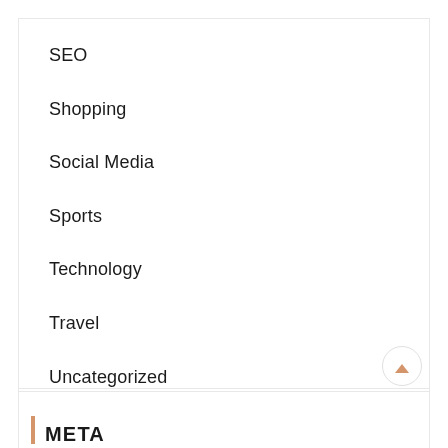SEO
Shopping
Social Media
Sports
Technology
Travel
Uncategorized
Web design
META